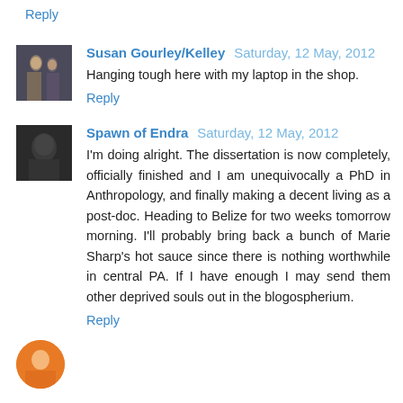Reply
Susan Gourley/Kelley  Saturday, 12 May, 2012
Hanging tough here with my laptop in the shop.
Reply
Spawn of Endra  Saturday, 12 May, 2012
I'm doing alright. The dissertation is now completely, officially finished and I am unequivocally a PhD in Anthropology, and finally making a decent living as a post-doc. Heading to Belize for two weeks tomorrow morning. I'll probably bring back a bunch of Marie Sharp's hot sauce since there is nothing worthwhile in central PA. If I have enough I may send them other deprived souls out in the blogospherium.
Reply